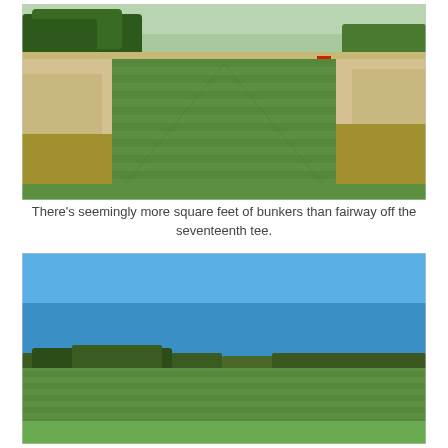[Figure (photo): Aerial/elevated view of a golf course fairway with large sandy bunkers on both sides and mowed grass fairway in the center. Trees visible in the background under a sunny sky.]
There's seemingly more square feet of bunkers than fairway off the seventeenth tee.
[Figure (photo): Ground-level view of a golf course fairway under a clear blue sky. Trees line the horizon in the background, with a wide open green fairway in the foreground.]